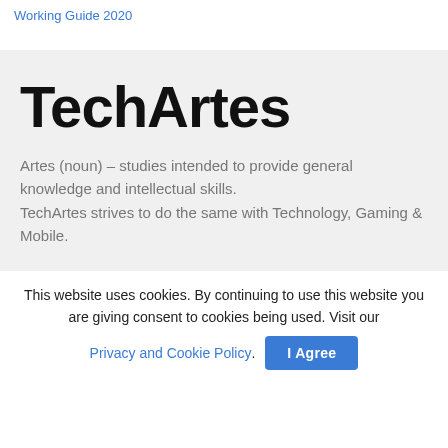Working Guide 2020
TechArtes
Artes (noun) – studies intended to provide general knowledge and intellectual skills.
TechArtes strives to do the same with Technology, Gaming & Mobile.
This website uses cookies. By continuing to use this website you are giving consent to cookies being used. Visit our Privacy and Cookie Policy. I Agree